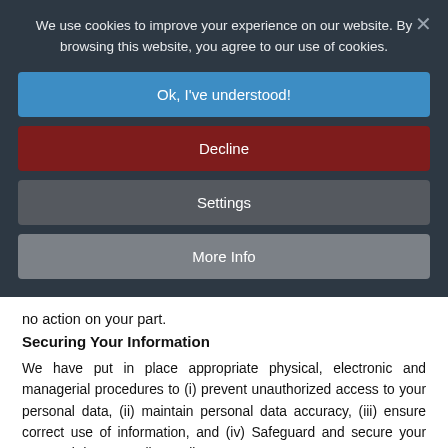We use cookies to improve your experience on our website. By browsing this website, you agree to our use of cookies.
Ok, I've understood!
Decline
Settings
More Info
no action on your part.
Securing Your Information
We have put in place appropriate physical, electronic and managerial procedures to (i) prevent unauthorized access to your personal data, (ii) maintain personal data accuracy, (iii) ensure correct use of information, and (iv) Safeguard and secure your personal data we collect online.